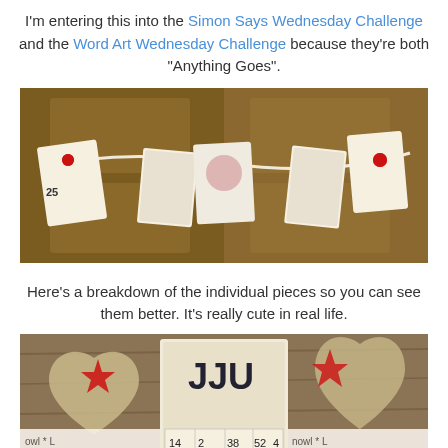I'm entering this into the Simon Says Wednesday Challenge and the Word Art Wednesday Challenge because they're both "Anything Goes".
[Figure (photo): Photo of a handmade Christmas banner/garland hung on a wooden door, with vintage-style bingo card tags decorated with roses and ribbons, including one tag showing the number 25.]
Here's a breakdown of the individual pieces so you can see them better. It's really cute in real life.
[Figure (photo): Close-up photo of individual handmade ornament pieces showing vintage bingo cards decorated with red glitter stars, a Santa face image, red roses, heart shapes with burlap texture, and ribbon reading 'nowl * L'. Bingo card shows numbers 14, 2, 38, 52, 4, 4, 16, 62, 7, 30.]